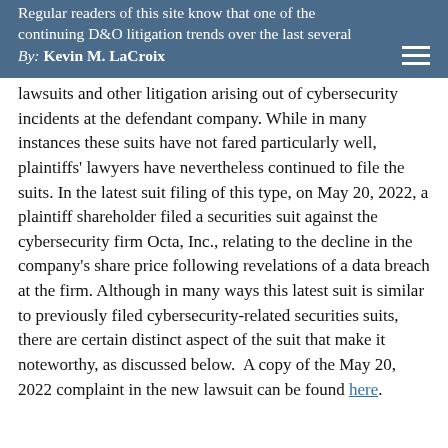Regular readers of this site know that one of the continuing D&O litigation trends over the last several years has been the incidence of securities class action By: Kevin M. LaCroix
lawsuits and other litigation arising out of cybersecurity incidents at the defendant company. While in many instances these suits have not fared particularly well, plaintiffs' lawyers have nevertheless continued to file the suits. In the latest suit filing of this type, on May 20, 2022, a plaintiff shareholder filed a securities suit against the cybersecurity firm Octa, Inc., relating to the decline in the company's share price following revelations of a data breach at the firm. Although in many ways this latest suit is similar to previously filed cybersecurity-related securities suits, there are certain distinct aspect of the suit that make it noteworthy, as discussed below. A copy of the May 20, 2022 complaint in the new lawsuit can be found here.